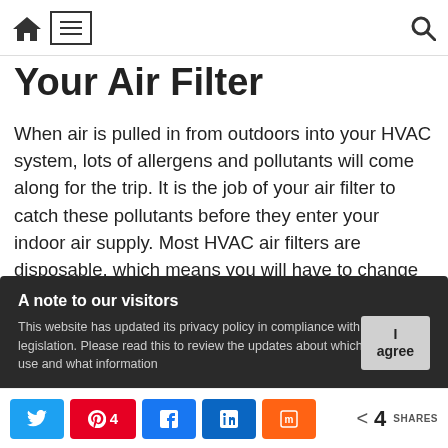Navigation bar with home icon, hamburger menu, and search icon
Your Air Filter
When air is pulled in from outdoors into your HVAC system, lots of allergens and pollutants will come along for the trip. It is the job of your air filter to catch these pollutants before they enter your indoor air supply. Most HVAC air filters are disposable, which means you will have to change them regularly. A dirty air filter will not only affect your indoor air quality, it can also overwork your HVAC unit.
A note to our visitors
This website has updated its privacy policy in compliance with EU Cookie legislation. Please read this to review the updates about which cookies we use and what information
Social share bar: Twitter, Pinterest 4, Facebook, LinkedIn, Mix | < 4 SHARES